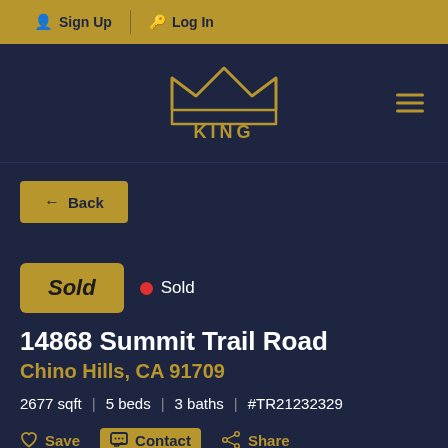Sign Up  Log In
[Figure (logo): King Realty Group Inc. logo - gold crown outline above text KING REALTY GROUP INC. on dark navy background]
← Back
Sold • Sold
14868 Summit Trail Road
Chino Hills, CA 91709
2677 sqft | 5 beds | 3 baths | #TR21232329
Save  Contact  Share
Price Change Alerts